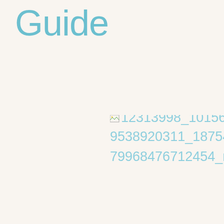Guide
[Figure (other): Broken image placeholder with filename: 12313998_10156339538920311_18754979968476712454_n]